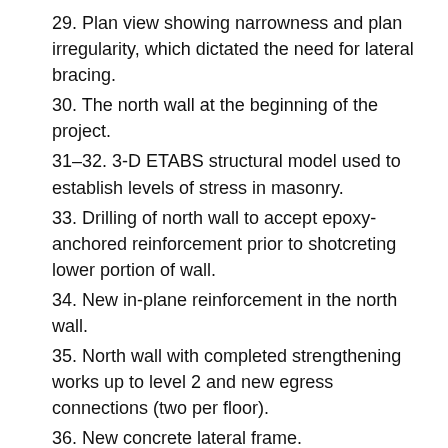29. Plan view showing narrowness and plan irregularity, which dictated the need for lateral bracing.
30. The north wall at the beginning of the project.
31–32. 3-D ETABS structural model used to establish levels of stress in masonry.
33. Drilling of north wall to accept epoxy-anchored reinforcement prior to shotcreting lower portion of wall.
34. New in-plane reinforcement in the north wall.
35. North wall with completed strengthening works up to level 2 and new egress connections (two per floor).
36. New concrete lateral frame.
37. Lateral frame solution to reinforce weak end